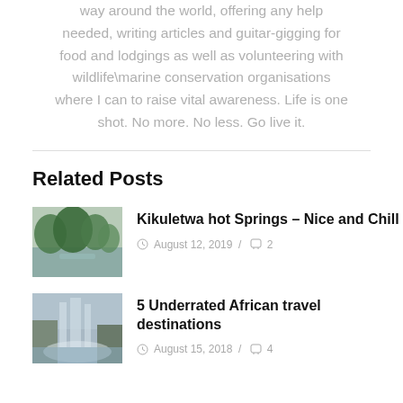way around the world, offering any help needed, writing articles and guitar-gigging for food and lodgings as well as volunteering with wildlife\marine conservation organisations where I can to raise vital awareness. Life is one shot. No more. No less. Go live it.
Related Posts
[Figure (photo): Thumbnail of Kikuletwa hot springs with green trees and water]
Kikuletwa hot Springs – Nice and Chill
August 12, 2019 / 2
[Figure (photo): Thumbnail of African waterfall destination]
5 Underrated African travel destinations
August 15, 2018 / 4